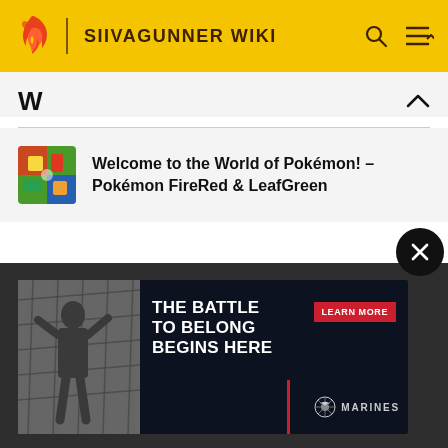SIIVAGUNNER WIKI
W
Welcome to the World of Pokémon! – Pokémon FireRed & LeafGreen
[Figure (screenshot): Marines advertisement banner: 'THE BATTLE TO BELONG BEGINS HERE' with a soldier climbing netting, LEARN MORE button, and Marines logo]